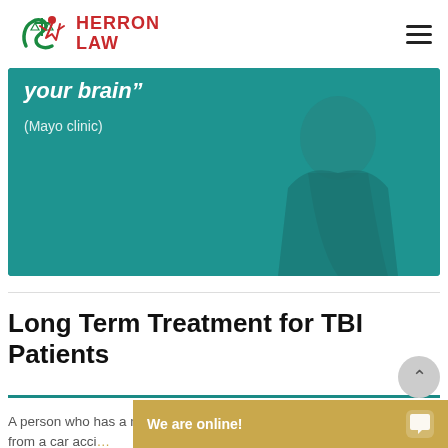HERRON LAW
[Figure (photo): Teal-colored hero image banner showing a person holding their head, with bold italic white quote text 'your brain”' and attribution '(Mayo clinic)']
Long Term Treatment for TBI Patients
A person who has a moderate or severe from a car acci…